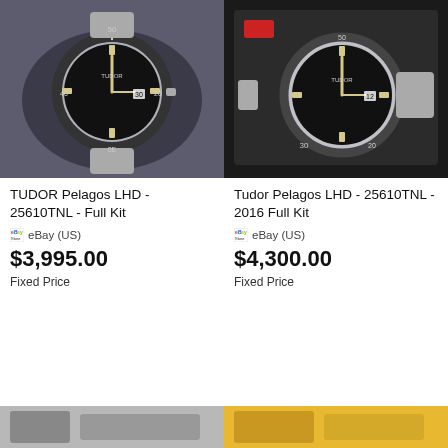[Figure (photo): Close-up photo of a Tudor Pelagos LHD watch with black dial and bezel on a cushion display, silver bracelet]
[Figure (photo): Photo of a Tudor Pelagos LHD watch with black dial placed in its box, silver bracelet, with tags visible]
TUDOR Pelagos LHD - 25610TNL - Full Kit
Tudor Pelagos LHD - 25610TNL - 2016 Full Kit
eBay (US)
eBay (US)
$3,995.00
$4,300.00
Fixed Price
Fixed Price
[Figure (photo): Partial view of a watch listing at bottom left, gray tones]
[Figure (photo): Partial view of a watch listing at bottom right, yellow/gold tones]